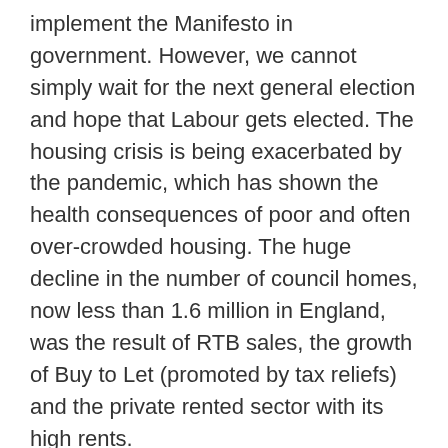implement the Manifesto in government. However, we cannot simply wait for the next general election and hope that Labour gets elected. The housing crisis is being exacerbated by the pandemic, which has shown the health consequences of poor and often over-crowded housing. The huge decline in the number of council homes, now less than 1.6 million in England, was the result of RTB sales, the growth of Buy to Let (promoted by tax reliefs) and the private rented sector with its high rents.
The housing crisis needs addressing now. In the